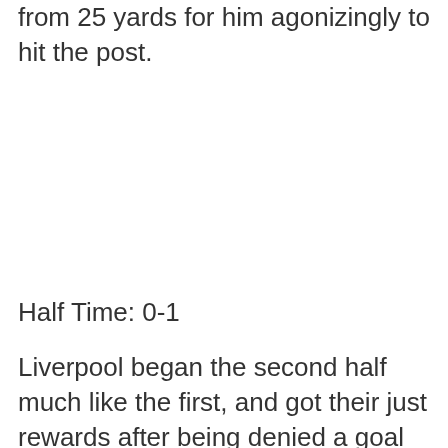from 25 yards for him agonizingly to hit the post.
Half Time: 0-1
Liverpool began the second half much like the first, and got their just rewards after being denied a goal by Givens handball, when a minute